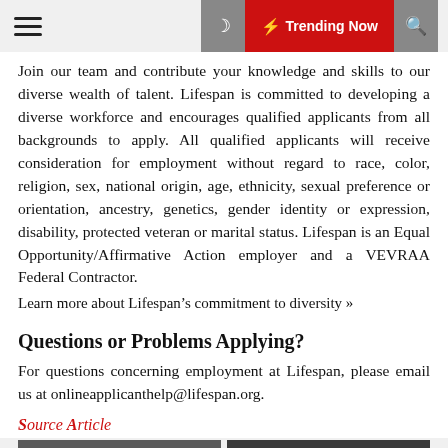≡ 🌙 ⚡ Trending Now 🔍
Join our team and contribute your knowledge and skills to our diverse wealth of talent. Lifespan is committed to developing a diverse workforce and encourages qualified applicants from all backgrounds to apply. All qualified applicants will receive consideration for employment without regard to race, color, religion, sex, national origin, age, ethnicity, sexual preference or orientation, ancestry, genetics, gender identity or expression, disability, protected veteran or marital status. Lifespan is an Equal Opportunity/Affirmative Action employer and a VEVRAA Federal Contractor.
Learn more about Lifespan's commitment to diversity »
Questions or Problems Applying?
For questions concerning employment at Lifespan, please email us at onlineapplicanthelp@lifespan.org.
Source Article
[Figure (photo): Two partially visible thumbnail images at the bottom of the page]